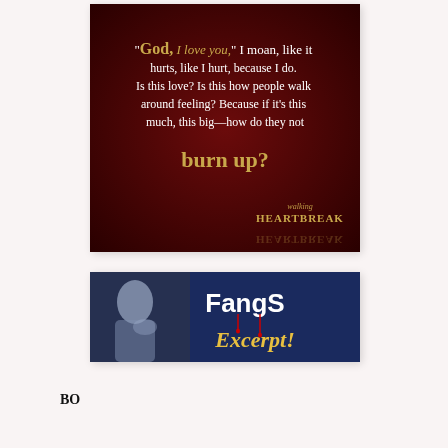[Figure (illustration): Dark red/maroon background with white and gold text quote: '"God, I love you," I moan, like it hurts, like I hurt, because I do. Is this love? Is this how people walk around feeling? Because if it's this much, this big—how do they not burn up?' with 'walking HEARTBREAK' logo at bottom right.]
[Figure (illustration): Dark navy blue banner with a photo of a person on the left side, and white bold text 'FangS' and gold script text 'Excerpt!' with red dripping blood effect.]
BO